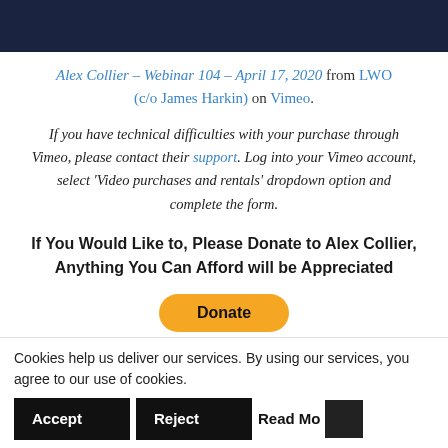[Figure (other): Dark navy blue banner at top of page]
Alex Collier – Webinar 104 – April 17, 2020 from LWO (c/o James Harkin) on Vimeo.
If you have technical difficulties with your purchase through Vimeo, please contact their support. Log into your Vimeo account, select 'Video purchases and rentals' dropdown option and complete the form.
If You Would Like to, Please Donate to Alex Collier, Anything You Can Afford will be Appreciated
[Figure (other): Yellow PayPal Donate button (partially visible)]
Cookies help us deliver our services. By using our services, you agree to our use of cookies. Accept Reject Read More